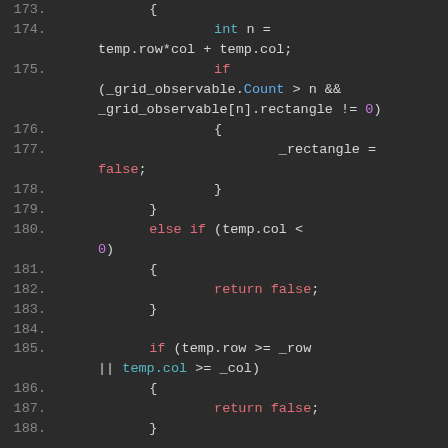Code snippet lines 173-188, C# source code showing grid observable rectangle logic